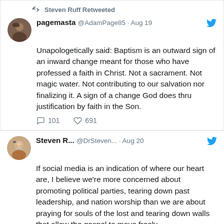Steven Ruff Retweeted
pagemasta @AdamPage85 · Aug 19
Unapologetically said: Baptism is an outward sign of an inward change meant for those who have professed a faith in Christ. Not a sacrament. Not magic water. Not contributing to our salvation nor finalizing it. A sign of a change God does thru justification by faith in the Son.
101   691
Steven R... @DrSteven... · Aug 20
If social media is an indication of where our heart are, I believe we're more concerned about promoting political parties, tearing down past leadership, and nation worship than we are about praying for souls of the lost and tearing down walls that allow the gospel to move freely.